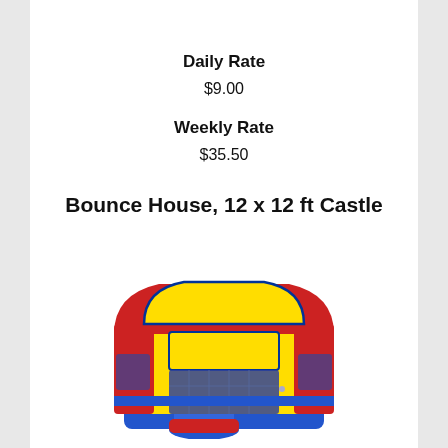Daily Rate
$9.00
Weekly Rate
$35.50
Bounce House, 12 x 12 ft Castle
[Figure (photo): A colorful inflatable bounce house castle with red, yellow, and blue panels, a mesh window in the front, a blue base, and a small red entry ramp.]